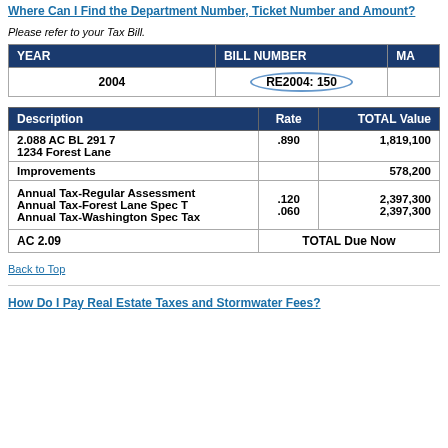Where Can I Find the Department Number, Ticket Number and Amount?
Please refer to your Tax Bill.
| YEAR | BILL NUMBER | MA... |
| --- | --- | --- |
| 2004 | RE2004: 150 |  |
| Description | Rate | TOTAL Value |
| --- | --- | --- |
| 2.088 AC BL 291 7
1234 Forest Lane | .890 | 1,819,100 |
| Improvements |  | 578,200 |
| Annual Tax-Regular Assessment
Annual Tax-Forest Lane Spec T
Annual Tax-Washington Spec Tax | .120
.060 | 2,397,300
2,397,300 |
| AC 2.09 | TOTAL Due Now |  |
Back to Top
How Do I Pay Real Estate Taxes and Stormwater Fees?